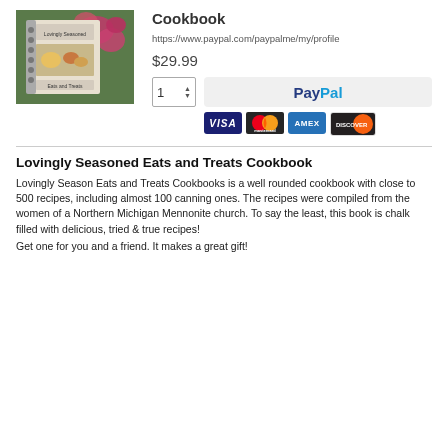[Figure (photo): Photo of the Lovingly Seasoned Eats and Treats Cookbook with a spiral binding, shown against a background with pink flowers]
Cookbook
https://www.paypal.com/paypalme/my/profile
$29.99
[Figure (screenshot): Quantity spinner showing 1, PayPal button, and payment cards (VISA, Mastercard, AMEX, DISCOVER)]
Lovingly Seasoned Eats and Treats Cookbook
Lovingly Season Eats and Treats Cookbooks is a well rounded cookbook with close to 500 recipes, including almost 100 canning ones. The recipes were compiled from the women of a Northern Michigan Mennonite church. To say the least, this book is chalk filled with delicious, tried & true recipes!
Get one for you and a friend. It makes a great gift!